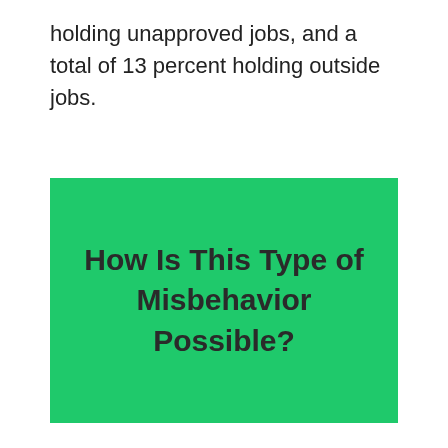holding unapproved jobs, and a total of 13 percent holding outside jobs.
How Is This Type of Misbehavior Possible?
Perhaps more important, according to the TIGTA report, is the fact that the IRS lacks adequate processes for tracking its employees' other jobs and gauging their potential for conflicts of interest and